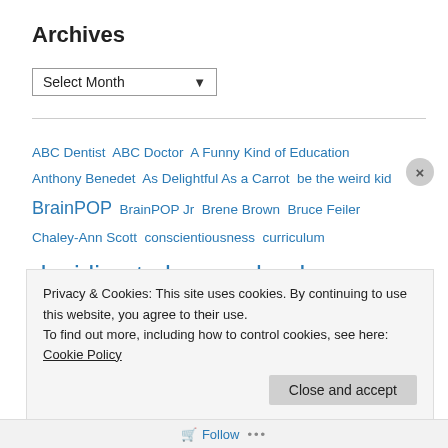Archives
Select Month
ABC Dentist ABC Doctor A Funny Kind of Education Anthony Benedet As Delightful As a Carrot be the weird kid BrainPOP BrainPOP Jr Brene Brown Bruce Feiler Chaley-Ann Scott conscientiousness curriculum deciding to homeschool deschooling education educational philosophy exams family FAQ Flexischool Frank Cottrell Boyce freedom future of education Harriet Ziefert
Privacy & Cookies: This site uses cookies. By continuing to use this website, you agree to their use.
To find out more, including how to control cookies, see here: Cookie Policy
Close and accept
Follow ...